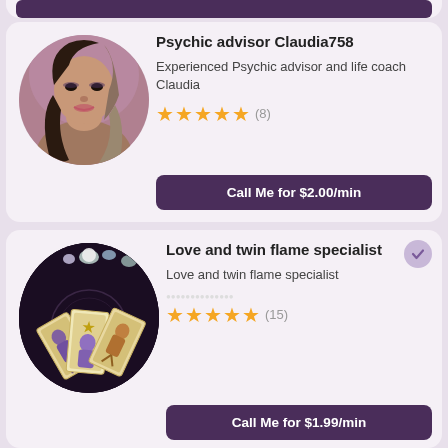[Figure (photo): Partial view of first advisor card showing a call button at top]
Psychic advisor Claudia758
Experienced Psychic advisor and life coach Claudia
★★★★★ (8)
Call Me for $2.00/min
Love and twin flame specialist
Love and twin flame specialist
★★★★★ (15)
Call Me for $1.99/min